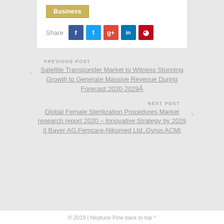Business
Share
[Figure (other): Social share buttons: Facebook, Twitter, Google+, LinkedIn, Pinterest]
PREVIOUS POST
Satellite Transponder Market to Witness Stunning Growth to Generate Massive Revenue During Forecast 2020-2029Â
NEXT POST
Global Female Sterilization Procedures Market research report 2020 – Innovative Strategy by 2029 || Bayer AG,Femcare-Nikomed Ltd.,Gyrus ACMI
© 2019 | Neptune Pine back to top ^